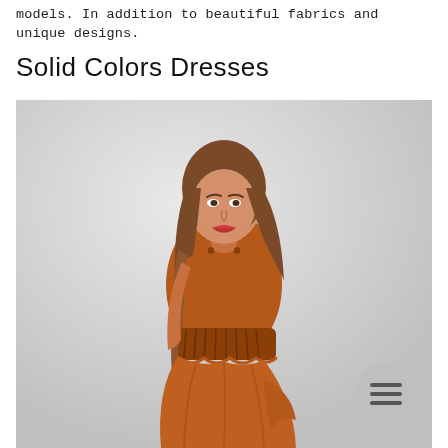models. In addition to beautiful fabrics and unique designs.
Solid Colors Dresses
[Figure (photo): A young woman with long auburn hair wearing a rust/burnt-orange sleeveless dress with an elasticated ruched waist and flowy skirt, photographed from the side against a light gray background. A circular menu icon (hamburger) is overlaid in the bottom-right corner of the image.]